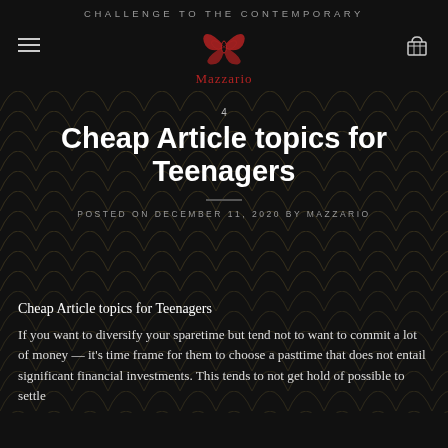CHALLENGE TO THE CONTEMPORARY
[Figure (logo): Mazzario brand logo with red butterfly/geometric icon and brand name 'Mazzario' in red below]
4
Cheap Article topics for Teenagers
POSTED ON DECEMBER 11, 2020 BY MAZZARIO
Cheap Article topics for Teenagers
If you want to diversify your sparetime but tend not to want to commit a lot of money — it's time frame for them to choose a pasttime that does not entail significant financial investments. This tends to not get hold of possible to settle